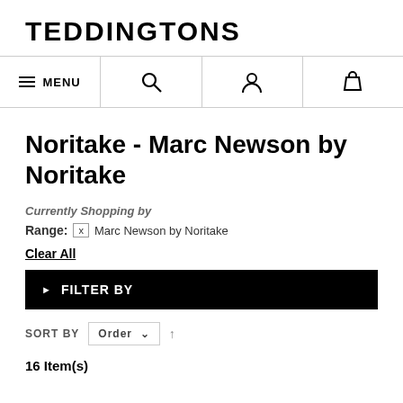TEDDINGTONS
[Figure (other): Navigation bar with MENU (hamburger icon), search icon, user account icon, and shopping bag icon]
Noritake - Marc Newson by Noritake
Currently Shopping by
Range: x Marc Newson by Noritake
Clear All
▶ FILTER BY
SORT BY Order ↑
16 Item(s)